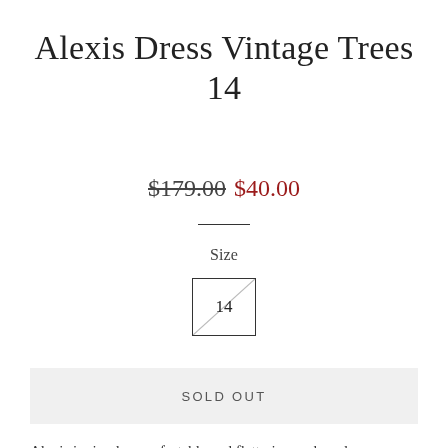Alexis Dress Vintage Trees 14
$179.00 $40.00
Size
14
SOLD OUT
Alexis is simple, comfortable and flattering - a brand